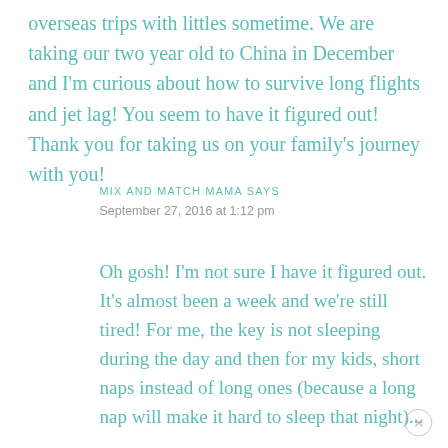overseas trips with littles sometime. We are taking our two year old to China in December and I'm curious about how to survive long flights and jet lag! You seem to have it figured out! Thank you for taking us on your family's journey with you!
MIX AND MATCH MAMA SAYS
September 27, 2016 at 1:12 pm
Oh gosh! I'm not sure I have it figured out. It's almost been a week and we're still tired! For me, the key is not sleeping during the day and then for my kids, short naps instead of long ones (because a long nap will make it hard to sleep that night)...